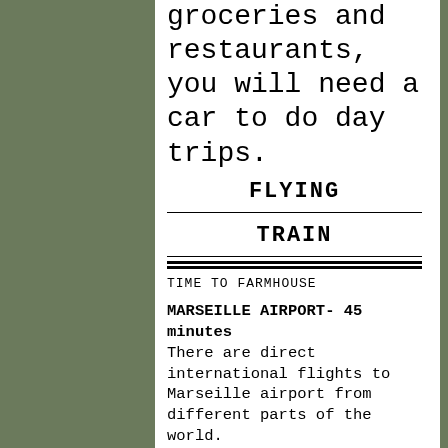groceries and restaurants, you will need a car to do day trips.
FLYING
TRAIN
TIME TO FARMHOUSE
MARSEILLE AIRPORT- 45 minutes There are direct international flights to Marseille airport from different parts of the world.
You can rent a car at Marseille